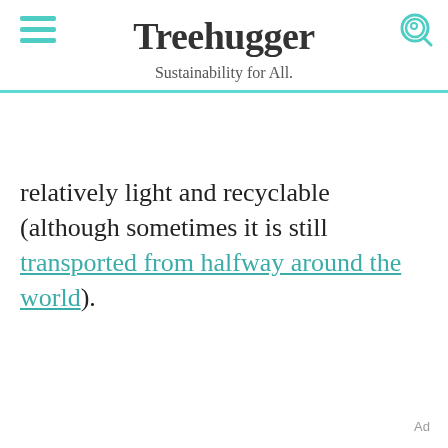Treehugger — Sustainability for All.
relatively light and recyclable (although sometimes it is still transported from halfway around the world).
Ad